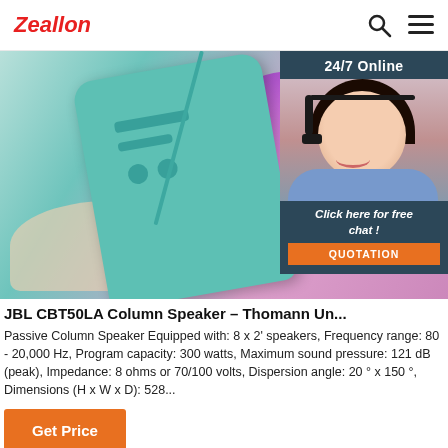Zeallon
[Figure (photo): A teal/mint colored JBL CBT50LA portable column speaker being held by hand, with colorful purple-pink glowing background. Overlay shows a customer service agent with headset and '24/7 Online' text, plus a QUOTATION button and 'Click here for free chat!' call to action.]
JBL CBT50LA Column Speaker – Thomann Un...
Passive Column Speaker Equipped with: 8 x 2' speakers, Frequency range: 80 - 20,000 Hz, Program capacity: 300 watts, Maximum sound pressure: 121 dB (peak), Impedance: 8 ohms or 70/100 volts, Dispersion angle: 20 ° x 150 °, Dimensions (H x W x D): 528...
Get Price